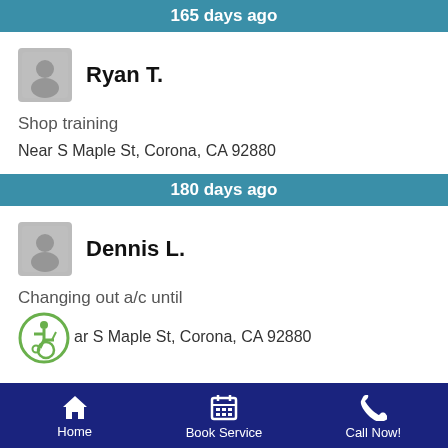165 days ago
[Figure (photo): User avatar silhouette for Ryan T.]
Ryan T.
Shop training
Near S Maple St, Corona, CA 92880
180 days ago
[Figure (photo): User avatar silhouette for Dennis L.]
Dennis L.
Changing out a/c until
[Figure (illustration): Wheelchair accessibility icon in green circle]
ar S Maple St, Corona, CA 92880
Home  Book Service  Call Now!